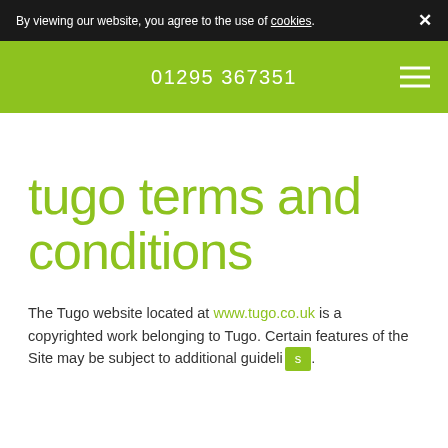By viewing our website, you agree to the use of cookies. ×
01295 367351
tugo terms and conditions
The Tugo website located at www.tugo.co.uk is a copyrighted work belonging to Tugo. Certain features of the Site may be subject to additional guideli...